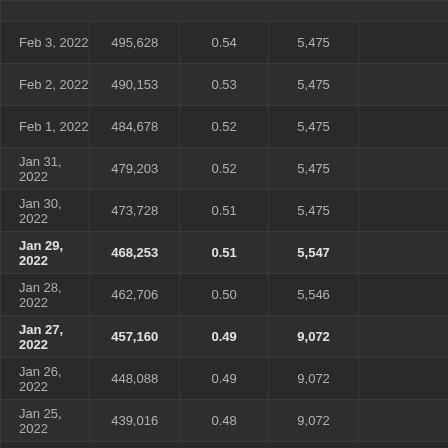| Feb 3, 2022 | 495,628 | 0.54 | 5,475 |  |
| Feb 2, 2022 | 490,153 | 0.53 | 5,475 |  |
| Feb 1, 2022 | 484,678 | 0.52 | 5,475 |  |
| Jan 31, 2022 | 479,203 | 0.52 | 5,475 |  |
| Jan 30, 2022 | 473,728 | 0.51 | 5,475 |  |
| Jan 29, 2022 | 468,253 | 0.51 | 5,547 |  |
| Jan 28, 2022 | 462,706 | 0.50 | 5,546 |  |
| Jan 27, 2022 | 457,160 | 0.49 | 9,072 |  |
| Jan 26, 2022 | 448,088 | 0.49 | 9,072 |  |
| Jan 25, 2022 | 439,016 | 0.48 | 9,072 |  |